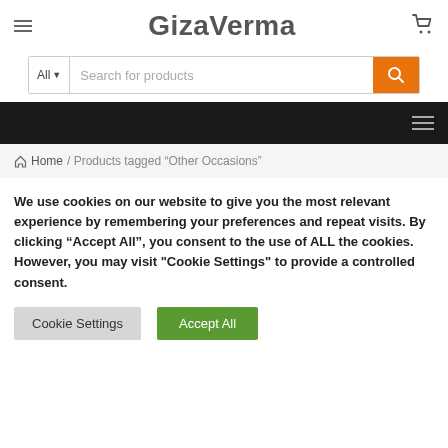GizaVerma
[Figure (screenshot): Search bar with 'All' dropdown, 'Search for products' placeholder, and orange search button]
[Figure (screenshot): Black navigation bar with hamburger menu icon on the right]
Home / Products tagged “Other Occasions”
We use cookies on our website to give you the most relevant experience by remembering your preferences and repeat visits. By clicking “Accept All”, you consent to the use of ALL the cookies. However, you may visit "Cookie Settings" to provide a controlled consent.
Cookie Settings   Accept All